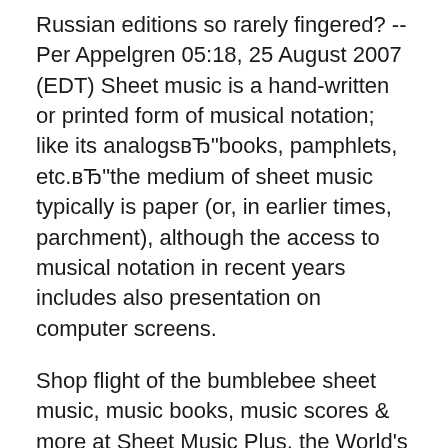Russian editions so rarely fingered? --Per Appelgren 05:18, 25 August 2007 (EDT) Sheet music is a hand-written or printed form of musical notation; like its analogsвЂ"books, pamphlets, etc.вЂ"the medium of sheet music typically is paper (or, in earlier times, parchment), although the access to musical notation in recent years includes also presentation on computer screens.
Shop flight of the bumblebee sheet music, music books, music scores & more at Sheet Music Plus, the World's Largest Selection of Sheet Music. Violin - Advanced - Digital Download Composed by Nikolay Andreyevich Rimsky-Korsakov (1844-1908). Arranged by Thomas Jancso. While most